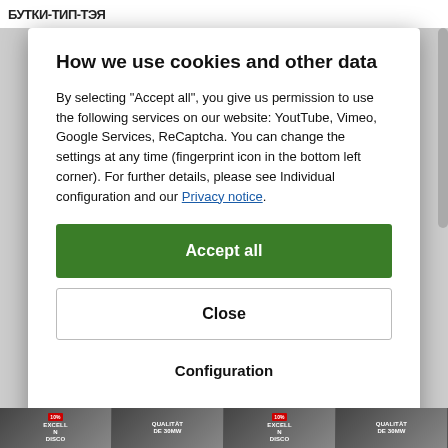How we use cookies and other data
By selecting "Accept all", you give us permission to use the following services on our website: YoutTube, Vimeo, Google Services, ReCaptcha. You can change the settings at any time (fingerprint icon in the bottom left corner). For further details, please see Individual configuration and our Privacy notice.
Accept all
Close
Configuration